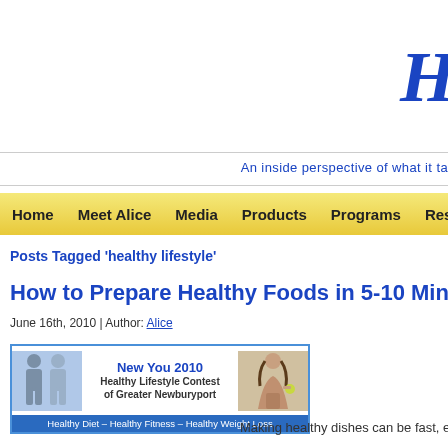Healthy
An inside perspective of what it ta
Home  Meet Alice  Media  Products  Programs  Resources  Sp
Posts Tagged 'healthy lifestyle'
How to Prepare Healthy Foods in 5-10 Minutes
June 16th, 2010 | Author: Alice
[Figure (photo): Banner ad for New You 2010 Healthy Lifestyle Contest of Greater Newburyport, showing two people on left and a woman on right. Footer text: Healthy Diet – Healthy Fitness – Healthy Weight Loss]
Making healthy dishes can be fast, e